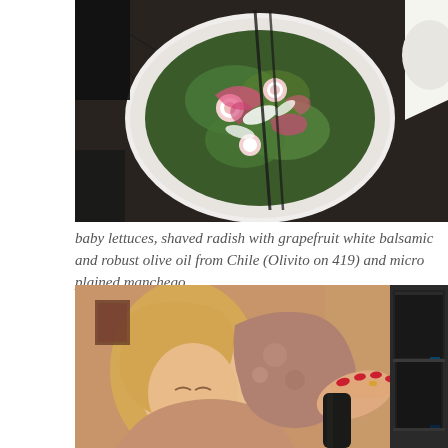[Figure (photo): Top-down photo of a white bowl with a salad of baby lettuces, shaved radish with pink pickled onions and white cheese shavings, on a dark table with plates and cutlery visible.]
baby lettuces, shaved radish with grapefruit white balsamic and robust olive oil from Chile (Olivito on 419) and micro plained manchego.
[Figure (photo): A woman with blonde hair wearing a patterned top reaching toward a dark appliance (oven/microwave) in a kitchen, appearing to pour or handle something.]